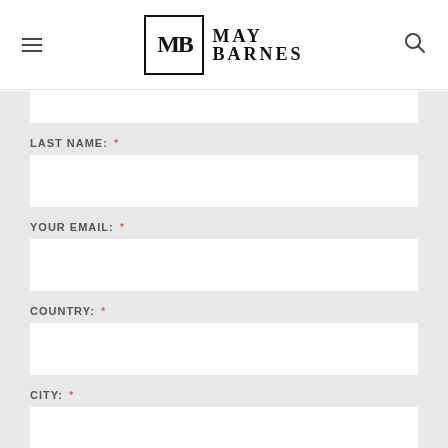May Barnes
LAST NAME: *
YOUR EMAIL: *
COUNTRY: *
CITY: *